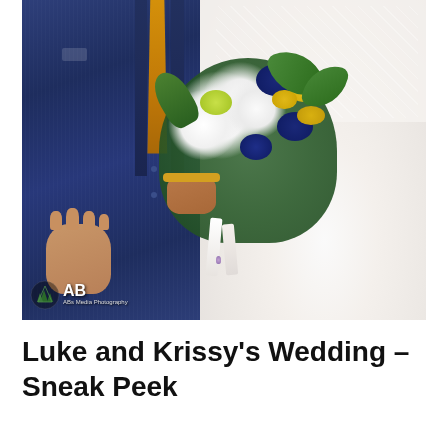[Figure (photo): Wedding photo showing a groom in a navy blue suit with orange/gold tie standing next to a bride in a white lace ball gown dress. The bride is holding a bouquet of white lilies, navy blue roses, yellow flowers, and greenery. An AB Photography watermark logo is visible in the bottom-left corner of the photo.]
Luke and Krissy's Wedding – Sneak Peek